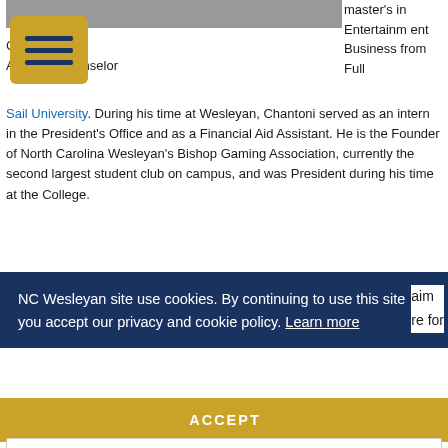[Figure (photo): Partial photo of a person at the top of the page]
[Figure (other): Yellow hamburger menu button overlay]
Chantoni Grant
Admissions Counselor
master's in Entertainment Business from Full Sail University.
. During his time at Wesleyan, Chantoni served as an intern in the President's Office and as a Financial Aid Assistant. He is the Founder of North Carolina Wesleyan's Bishop Gaming Association, currently the second largest student club on campus, and was President during his time at the College.
NC Wesleyan site use cookies. By continuing to use this site you accept our privacy and cookie policy. Learn more
aim
re for
ACCEPT